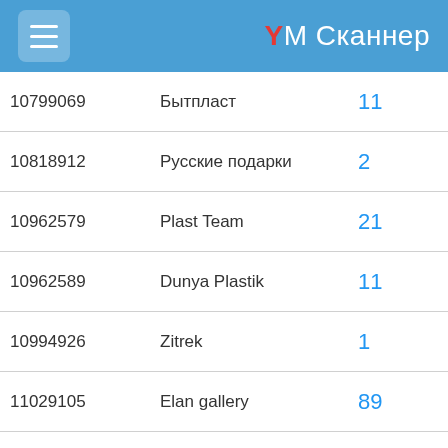YM Сканнер
| ID | Name | Count |
| --- | --- | --- |
| 10799069 | Бытпласт | 11 |
| 10818912 | Русские подарки | 2 |
| 10962579 | Plast Team | 21 |
| 10962589 | Dunya Plastik | 11 |
| 10994926 | Zitrek | 1 |
| 11029105 | Elan gallery | 89 |
| 11054050 | Bosign | 3 |
| 11136304 | Селфи | 23 |
|  |  |  |